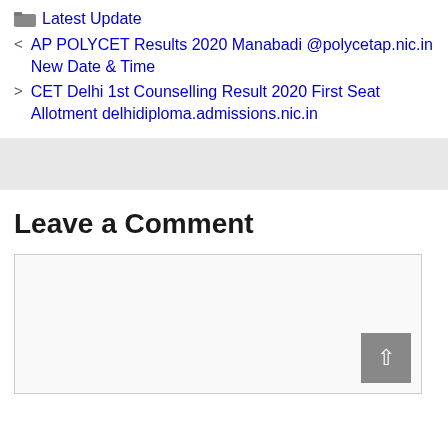Latest Update
AP POLYCET Results 2020 Manabadi @polycetap.nic.in New Date & Time
CET Delhi 1st Counselling Result 2020 First Seat Allotment delhidiploma.admissions.nic.in
Leave a Comment
[Figure (other): Comment text area input box]